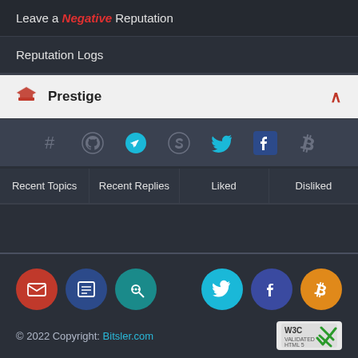Leave a Negative Reputation
Reputation Logs
Prestige
[Figure (infographic): Social media icons row: hashtag, GitHub, Telegram, Skype, Twitter, Facebook, Bitcoin]
Recent Topics | Recent Replies | Liked | Disliked
[Figure (infographic): Footer social icon circles: email, forum, link, Twitter, Facebook, Bitcoin]
© 2022 Copyright: Bitsler.com